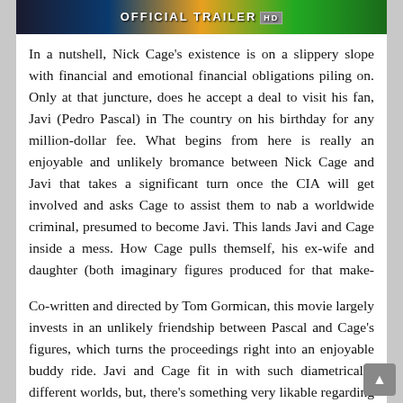[Figure (screenshot): Official Trailer banner image with yellow and green gradient background, showing 'OFFICIAL TRAILER' text with HD badge]
In a nutshell, Nick Cage's existence is on a slippery slope with financial and emotional financial obligations piling on. Only at that juncture, does he accept a deal to visit his fan, Javi (Pedro Pascal) in The country on his birthday for any million-dollar fee. What begins from here is really an enjoyable and unlikely bromance between Nick Cage and Javi that takes a significant turn once the CIA will get involved and asks Cage to assist them to nab a worldwide criminal, presumed to become Javi. This lands Javi and Cage inside a mess. How Cage pulls themself, his ex-wife and daughter (both imaginary figures produced for that make-believe Nick Cage within this movie), and Javi using this sticky situation form the climax.
Co-written and directed by Tom Gormican, this movie largely invests in an unlikely friendship between Pascal and Cage's figures, which turns the proceedings right into an enjoyable buddy ride. Javi and Cage fit in with such diametrically different worlds, but, there's something very likable regarding their camaraderie and the type of bond they kindle over movies and existence encounters. The